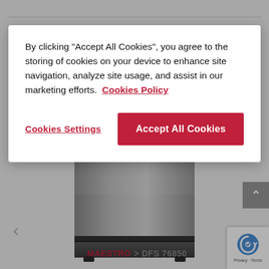[Figure (screenshot): Cookie consent modal dialog overlaying a product page showing a dishwasher (_MAESTRO > DFS 76850). The modal contains cookie policy text, a 'Cookies Settings' link button, and an 'Accept All Cookies' red button. Background shows the dishwasher product image, navigation arrows, scroll-to-top button, and reCAPTCHA badge.]
By clicking "Accept All Cookies", you agree to the storing of cookies on your device to enhance site navigation, analyze site usage, and assist in our marketing efforts.  Cookies Policy
Cookies Settings
Accept All Cookies
_MAESTRO > DFS 76850